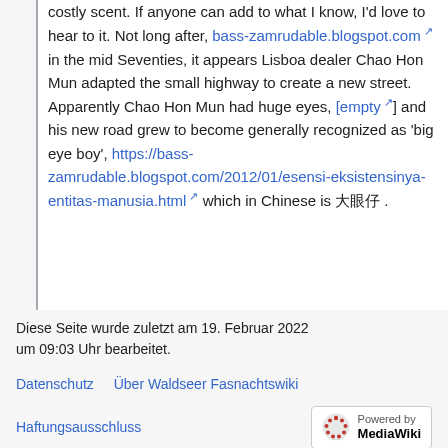costly scent. If anyone can add to what I know, I'd love to hear to it. Not long after, bass-zamrudable.blogspot.com in the mid Seventies, it appears Lisboa dealer Chao Hon Mun adapted the small highway to create a new street. Apparently Chao Hon Mun had huge eyes, [empty] and his new road grew to become generally recognized as 'big eye boy', https://bass-zamrudable.blogspot.com/2012/01/esensi-eksistensinya-entitas-manusia.html which in Chinese is 大眼仔.
Diese Seite wurde zuletzt am 19. Februar 2022 um 09:03 Uhr bearbeitet.
Datenschutz · Über Waldseer Fasnachtswiki · Haftungsausschluss